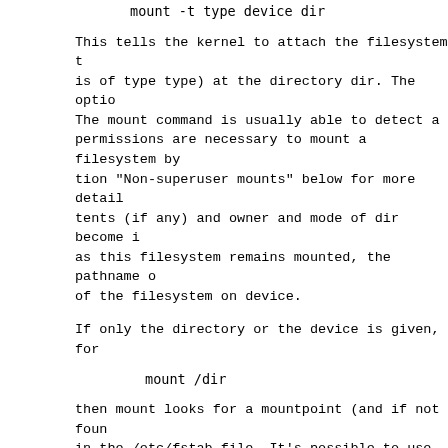This tells the kernel to attach the filesystem (which is of type type) at the directory dir. The options... The mount command is usually able to detect a... permissions are necessary to mount a filesystem by... tion "Non-superuser mounts" below for more detail... tents (if any) and owner and mode of dir become i... as this filesystem remains mounted, the pathname of the filesystem on device.
If only the directory or the device is given, for...
then mount looks for a mountpoint (and if not foun... in the /etc/fstab file. It's possible to use the... options to avoid ambivalent interpretation of the... example:
Listing the mounts
The listing mode is maintained for backward compat...
For more robust and customizable output use findmnt(8) in your scripts. Note that control characters in the... replaced with '?'.
The following command lists all mounted filesystems...